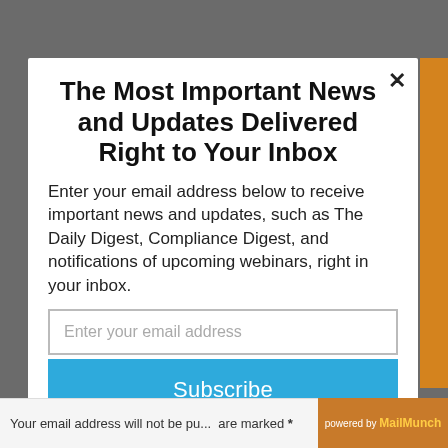The Most Important News and Updates Delivered Right to Your Inbox
Enter your email address below to receive important news and updates, such as The Daily Digest, Compliance Digest, and notifications of upcoming webinars, right in your inbox.
Enter your email address
Subscribe
Your email address will not be published. Required fields are marked *
powered by MailMunch